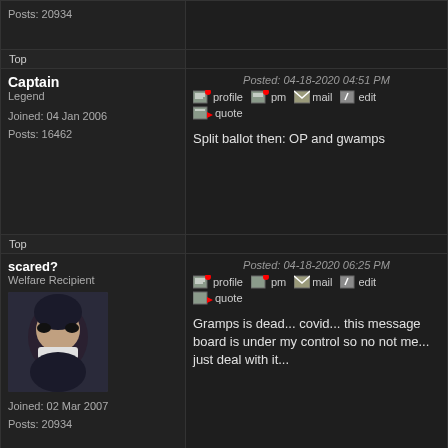| User | Post |
| --- | --- |
| Posts: 20934 |  |
| Top |  |
| Captain
Legend
Joined: 04 Jan 2006
Posts: 16462 | Posted: 04-18-2020 04:51 PM
[profile][pm][mail][edit][quote]
Split ballot then: OP and gwamps |
| Top |  |
| scared?
Welfare Recipient
Joined: 02 Mar 2007
Posts: 20934 | Posted: 04-18-2020 06:25 PM
[profile][pm][mail][edit][quote]
Gramps is dead... covid... this message board is under my control so no not me... just deal with it... |
| Top |  |
| mrd
Elite
Joined: 25 Mar 2000 | Posted: 04-18-2020 07:26 PM
[profile][pm][mail][edit][quote] |